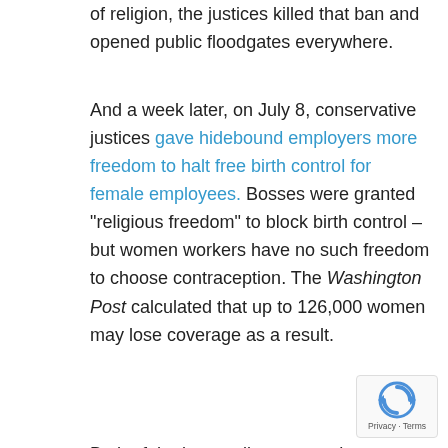of religion, the justices killed that ban and opened public floodgates everywhere.
And a week later, on July 8, conservative justices gave hidebound employers more freedom to halt free birth control for female employees. Bosses were granted “religious freedom” to block birth control – but women workers have no such freedom to choose contraception. The Washington Post calculated that up to 126,000 women may lose coverage as a result.
Both of the latter rulings serve the “religious right” and the GOP. For liberals, the monthly scorecard was one step ahead and two back. This shows the crucial need for progressive Americans to win more elections and reduce conservative control in Washington.
Personally, I have a blind hope – almost a religious faith – that the “moral arc of the universe” will continue bending toward justice. Ever since the Enlightenment, progressives
[Figure (other): reCAPTCHA badge with privacy and terms text]